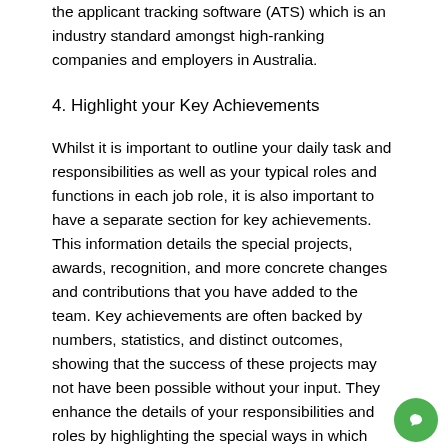the applicant tracking software (ATS) which is an industry standard amongst high-ranking companies and employers in Australia.
4. Highlight your Key Achievements
Whilst it is important to outline your daily task and responsibilities as well as your typical roles and functions in each job role, it is also important to have a separate section for key achievements. This information details the special projects, awards, recognition, and more concrete changes and contributions that you have added to the team. Key achievements are often backed by numbers, statistics, and distinct outcomes, showing that the success of these projects may not have been possible without your input. They enhance the details of your responsibilities and roles by highlighting the special ways in which you were able to go above and beyond what was expected. This section can also